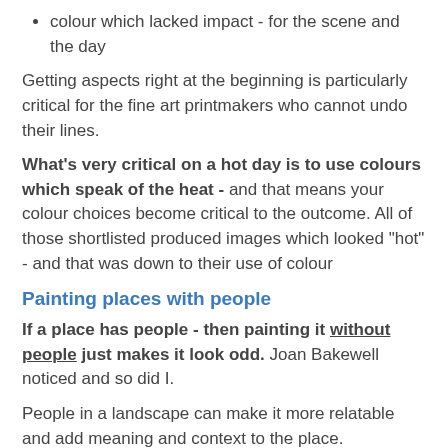colour which lacked impact - for the scene and the day
Getting aspects right at the beginning is particularly critical for the fine art printmakers who cannot undo their lines.
What's very critical on a hot day is to use colours which speak of the heat - and that means your colour choices become critical to the outcome. All of those shortlisted produced images which looked "hot" - and that was down to their use of colour
Painting places with people
If a place has people - then painting it without people just makes it look odd. Joan Bakewell noticed and so did I.
People in a landscape can make it more relatable and add meaning and context to the place.
I've noticed this a lot amongst people who paint landscapes. Many artists are happy painting inanimate objects (structures